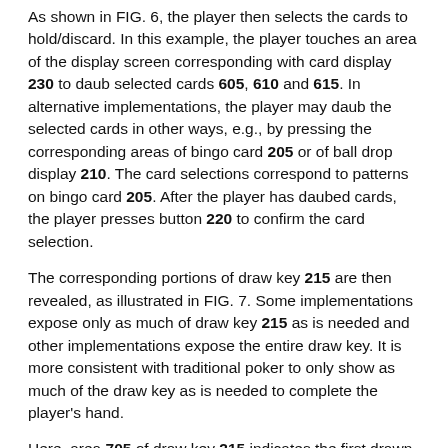As shown in FIG. 6, the player then selects the cards to hold/discard. In this example, the player touches an area of the display screen corresponding with card display 230 to daub selected cards 605, 610 and 615. In alternative implementations, the player may daub the selected cards in other ways, e.g., by pressing the corresponding areas of bingo card 205 or of ball drop display 210. The card selections correspond to patterns on bingo card 205. After the player has daubed cards, the player presses button 220 to confirm the card selection.
The corresponding portions of draw key 215 are then revealed, as illustrated in FIG. 7. Some implementations expose only as much of draw key 215 as is needed and other implementations expose the entire draw key. It is more consistent with traditional poker to only show as much of the draw key as is needed to complete the player's hand.
Here, area 705 of draw key 215 indicates the first drawn card. Area 705 indicates that the 33rd hit will be the corresponding number. Ball 710 of ball drop display 210 indicates that the corresponding number will be 71.